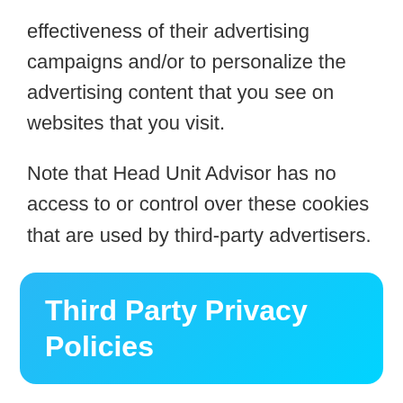effectiveness of their advertising campaigns and/or to personalize the advertising content that you see on websites that you visit.
Note that Head Unit Advisor has no access to or control over these cookies that are used by third-party advertisers.
Third Party Privacy Policies
Head Unit Advisor's Privacy Policy does not apply to other advertisers or websites. Thus, we are advising you to consult the